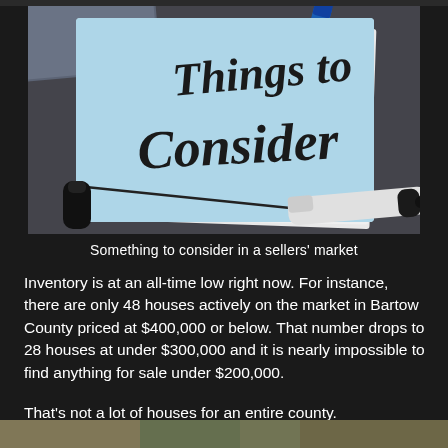[Figure (photo): Photo of a light blue notepad with 'Things to Consider' written in black marker handwriting, with a black marker pen lying beside it on a dark surface]
Something to consider in a sellers' market
Inventory is at an all-time low right now. For instance, there are only 48 houses actively on the market in Bartow County priced at $400,000 or below. That number drops to 28 houses at under $300,000 and it is nearly impossible to find anything for sale under $200,000.
That's not a lot of houses for an entire county.
[Figure (photo): Partial photo visible at bottom of page, appears to be a real estate or house-related image]